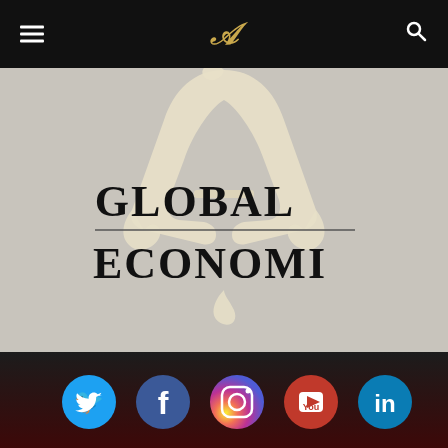≡  𝒜  🔍
[Figure (logo): Global Economy publication logo: large decorative letter A in cream/ivory with ornate serifs overlaid by the text 'GLOBAL ECONOMY' in bold serif uppercase, on a light gray background]
[Figure (infographic): Social media icons row on dark background: Twitter (blue circle), Facebook (dark blue circle), Instagram (multicolor gradient circle), YouTube (red circle), LinkedIn (teal circle)]